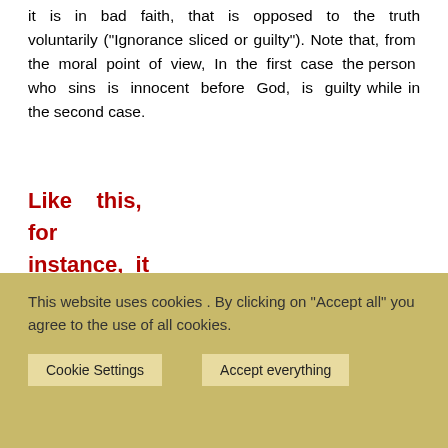it is in bad faith, that is opposed to the truth voluntarily ("Ignorance sliced or guilty"). Note that, from the moral point of view, In the first case the person who sins is innocent before God, is guilty while in the second case.
Like this, for instance, it is not difficult to show that
This website uses cookies . By clicking on "Accept all" you agree to the use of all cookies.